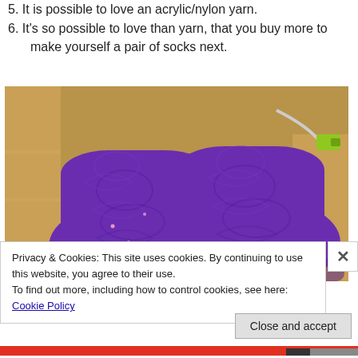5. It is possible to love an acrylic/nylon yarn.
6. It's so possible to love than yarn, that you buy more to make yourself a pair of socks next.
[Figure (photo): Photo of two purple knitted socks with lace pattern laid on a golden/tan fabric background, with a green USB device visible in the top right corner.]
Privacy & Cookies: This site uses cookies. By continuing to use this website, you agree to their use.
To find out more, including how to control cookies, see here: Cookie Policy
Close and accept